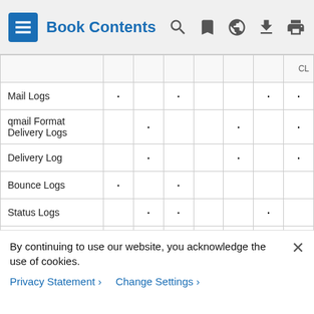Book Contents
|  |  |  |  |  |  |  | CL |
| --- | --- | --- | --- | --- | --- | --- | --- |
| Mail Logs | · |  | · |  |  | · | · |
| qmail Format Delivery Logs |  | · |  |  | · |  | · |
| Delivery Log |  | · |  |  | · |  | · |
| Bounce Logs | · |  | · |  |  |  |  |
| Status Logs |  | · | · |  |  | · |  |
| Domain Debug Logs | · |  | · |  |  |  |  |
| Injection Debug Logs | · |  | · |  |  |  | · |
By continuing to use our website, you acknowledge the use of cookies.
Privacy Statement > Change Settings >